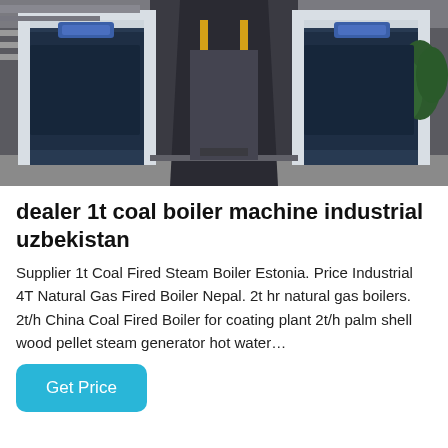[Figure (photo): Industrial coal boiler machines in a facility — large dark blue and white boiler units arranged in a row along a corridor, with yellow pipes and concrete flooring visible.]
dealer 1t coal boiler machine industrial uzbekistan
Supplier 1t Coal Fired Steam Boiler Estonia. Price Industrial 4T Natural Gas Fired Boiler Nepal. 2t hr natural gas boilers. 2t/h China Coal Fired Boiler for coating plant 2t/h palm shell wood pellet steam generator hot water…